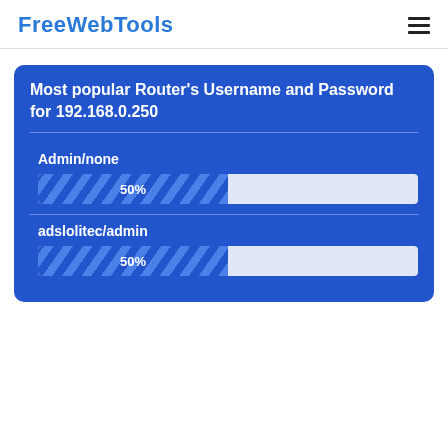FreeWebTools
Most popular Router's Username and Password for 192.168.0.250
[Figure (bar-chart): Admin/none]
[Figure (bar-chart): adslolitec/admin]